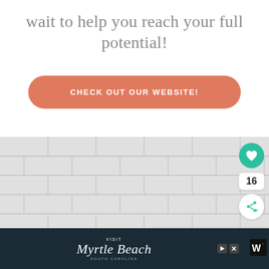wait to help you reach your full potential!
CHECK OUT OUR WEBSITE!
[Figure (photo): A person with brown hair in front of a white tile wall, with social sharing UI elements (heart button with 16 count, share button, What's Next Blog label) overlaid on the right side]
[Figure (infographic): Advertisement bar for Visit Myrtle Beach, South Carolina with teal/dark background]